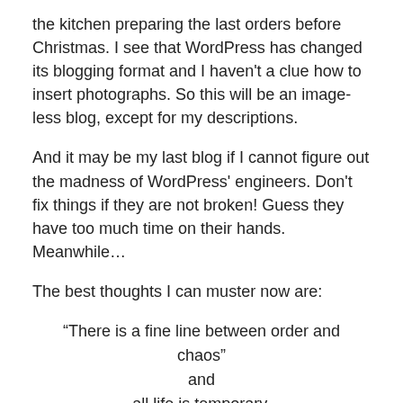the kitchen preparing the last orders before Christmas. I see that WordPress has changed its blogging format and I haven't a clue how to insert photographs. So this will be an image-less blog, except for my descriptions.
And it may be my last blog if I cannot figure out the madness of WordPress' engineers. Don't fix things if they are not broken! Guess they have too much time on their hands. Meanwhile…
The best thoughts I can muster now are:
“There is a fine line between order and chaos”
and
all life is temporary.
I choose to think this too shall pass and we will emerge as the butterfly, more beautiful than the caterpillar and able to